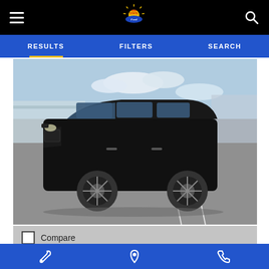Sun State Ford - Navigation header with hamburger menu, logo, and search icon
RESULTS  FILTERS  SEARCH
[Figure (photo): Black 2017 Kia Sedona LX minivan parked in a dealer lot, front 3/4 view, blue sky with clouds in background, dealership buildings visible]
Compare
Certified Used 2017 Kia
Sedona LX
MPG:  18/24 (City/Hwy)
Bottom navigation bar with service, location, and phone icons